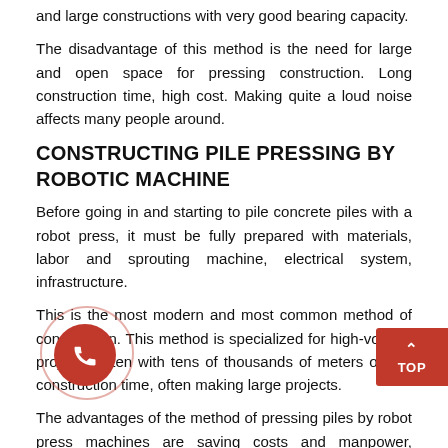and large constructions with very good bearing capacity.
The disadvantage of this method is the need for large and open space for pressing construction. Long construction time, high cost. Making quite a loud noise affects many people around.
CONSTRUCTING PILE PRESSING BY ROBOTIC MACHINE
Before going in and starting to pile concrete piles with a robot press, it must be fully prepared with materials, labor and sprouting machine, electrical system, infrastructure.
This is the most modern and most common method of construction. This method is specialized for high-volume projects, often with tens of thousands of meters of fast construction time, often making large projects.
The advantages of the method of pressing piles by robot press machines are saving costs and manpower, especially shortening the construction time.
Above is information on 3 methods of pile construction